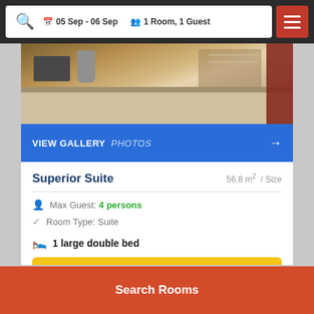05 Sep - 06 Sep  1 Room, 1 Guest
[Figure (photo): Hotel kitchen area showing microwave, kettle, and counter with sink in background]
VIEW GALLERY  PHOTOS →
Superior Suite
56.8 m² / Size
Max Guest: 4 persons
Room Type: Suite
1 large double bed
Search Price
Search Rooms